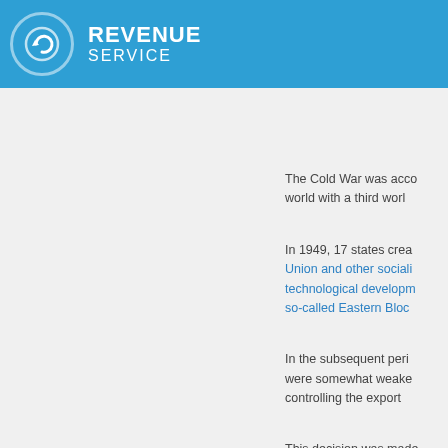REVENUE SERVICE
The Cold War was acco world with a third worl
In 1949, 17 states crea Union and other sociali technological developm so-called Eastern Bloc
In the subsequent peri were somewhat weake controlling the export
This decision was made Arrangement (WA) was